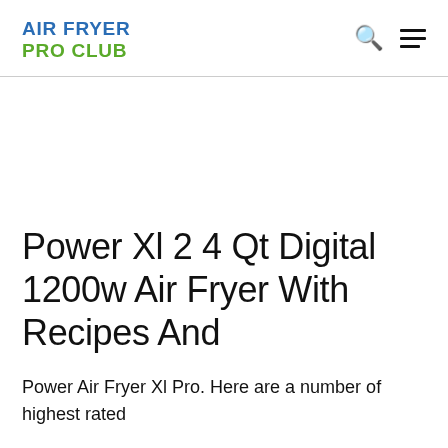AIR FRYER PRO CLUB
Power Xl 2 4 Qt Digital 1200w Air Fryer With Recipes And
Power Air Fryer Xl Pro. Here are a number of highest rated